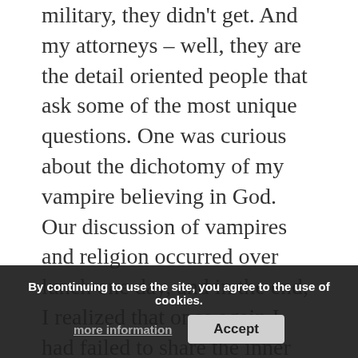military, they didn't get. And my attorneys – well, they are the detail oriented people that ask some of the most unique questions. One was curious about the dichotomy of my vampire believing in God. Our discussion of vampires and religion occurred over lunch one day, and in the end, I realized that once again I had failed to share the inner conflict of my character with the reader. The questions they ask, force me as a writer to do a better job of getting what's in my head, on to the page.
The other thing to keep in mind is that you need to familiarize yourself with the reader, so that you expect of them. Do you want them to make notes, do you want them to look at something
By continuing to use the site, you agree to the use of cookies. more information   Accept